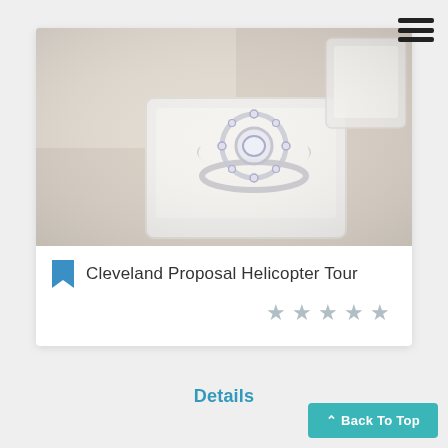[Figure (photo): Close-up photo of a diamond engagement ring in a white jewelry box, soft focus background.]
Cleveland Proposal Helicopter Tour
★ ★ ★ ★ ★ (5 empty stars rating)
Details
^ Back To Top